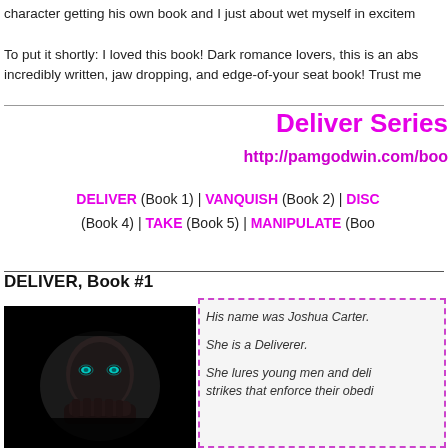character getting his own book and I just about wet myself in excitement
To put it shortly: I loved this book! Dark romance lovers, this is an absolutely incredibly written, jaw dropping, and edge-of-your seat book! Trust me
Deliver Series
http://pamgodwin.com/boo
DELIVER (Book 1) | VANQUISH (Book 2) | DISC... (Book 4) | TAKE (Book 5) | MANIPULATE (Boo...
DELIVER, Book #1
[Figure (photo): Dark photo of a man with glowing blue/teal eyes, hands raised near his face, dramatic low-key lighting against black background]
His name was Joshua Carter.

She is a Deliverer.

She lures young men and delivers strikes that enforce their obedi...